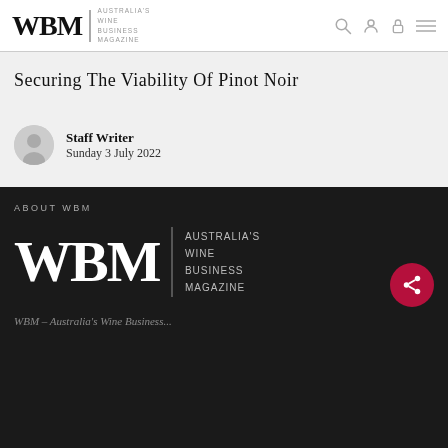WBM | AUSTRALIA'S WINE BUSINESS MAGAZINE
Securing The Viability Of Pinot Noir
Staff Writer
Sunday 3 July 2022
ABOUT WBM
[Figure (logo): WBM - Australia's Wine Business Magazine logo in white on dark background]
WBM – Australia's Wine Business...